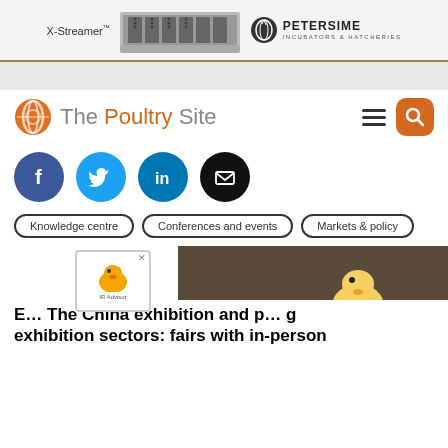[Figure (illustration): X-Streamer incubator machine advertisement banner with Petersime Incubators & Hatcheries logo]
[Figure (logo): The Poultry Site logo with orange globe icon and navigation hamburger menu and search button]
[Figure (infographic): Social share buttons: Facebook (blue circle with f), Twitter (cyan circle with bird), LinkedIn (blue circle with in), Email (black circle with envelope)]
Knowledge centre
Conferences and events
Markets & policy
E… The China exhibition and p… g exhibition sectors: fairs with in-person